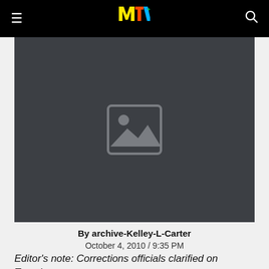MTV
[Figure (photo): Image placeholder on dark gray background, representing a missing or unavailable photo]
By archive-Kelley-L-Carter
October 4, 2010 / 9:35 PM
Editor's note: Corrections officials clarified on Tuesday